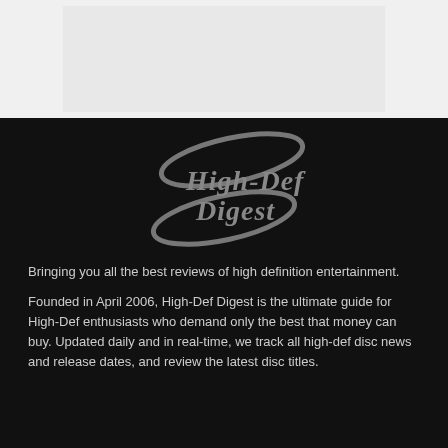[Figure (photo): Light gray rectangular image placeholder at the top of the page]
[Figure (logo): High-Def Digest logo with stylized italic text 'HIGH-DEF DIGEST' in gray with swoosh elliptical graphic on dark background]
Bringing you all the best reviews of high definition entertainment.
Founded in April 2006, High-Def Digest is the ultimate guide for High-Def enthusiasts who demand only the best that money can buy. Updated daily and in real-time, we track all high-def disc news and release dates, and review the latest disc titles.